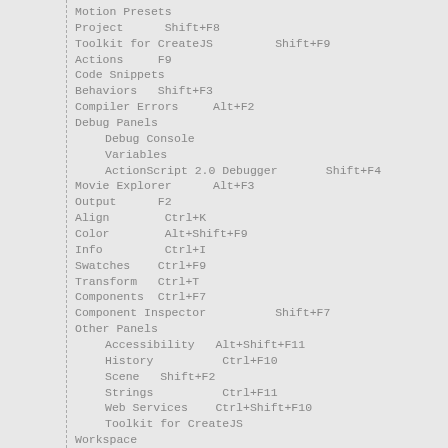Motion Presets
Project      Shift+F8
Toolkit for CreateJS         Shift+F9
Actions     F9
Code Snippets
Behaviors   Shift+F3
Compiler Errors     Alt+F2
Debug Panels
Debug Console
Variables
ActionScript 2.0 Debugger        Shift+F4
Movie Explorer       Alt+F3
Output       F2
Align        Ctrl+K
Color        Alt+Shift+F9
Info         Ctrl+I
Swatches    Ctrl+F9
Transform   Ctrl+T
Components  Ctrl+F7
Component Inspector          Shift+F7
Other Panels
Accessibility   Alt+Shift+F11
History          Ctrl+F10
Scene   Shift+F2
Strings          Ctrl+F11
Web Services    Ctrl+Shift+F10
Toolkit for CreateJS
Workspace
Animator
Classic
Debug
Designer